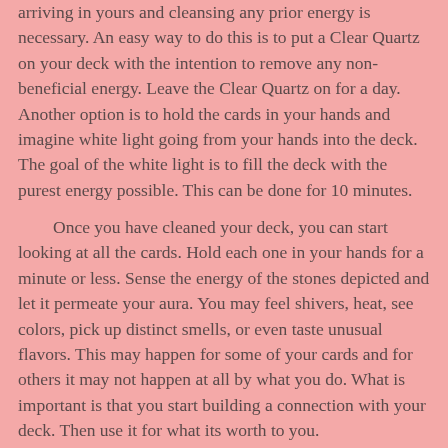arriving in yours and cleansing any prior energy is necessary. An easy way to do this is to put a Clear Quartz on your deck with the intention to remove any non-beneficial energy. Leave the Clear Quartz on for a day. Another option is to hold the cards in your hands and imagine white light going from your hands into the deck. The goal of the white light is to fill the deck with the purest energy possible. This can be done for 10 minutes.
Once you have cleaned your deck, you can start looking at all the cards. Hold each one in your hands for a minute or less. Sense the energy of the stones depicted and let it permeate your aura. You may feel shivers, heat, see colors, pick up distinct smells, or even taste unusual flavors. This may happen for some of your cards and for others it may not happen at all by what you do. What is important is that you start building a connection with your deck. Then use it for what its worth to you.
Some of you may feel comfortable sleeping with the deck underneath your pillow. Others may want to carry them around with you. Use whatever way you feel most relaxed in